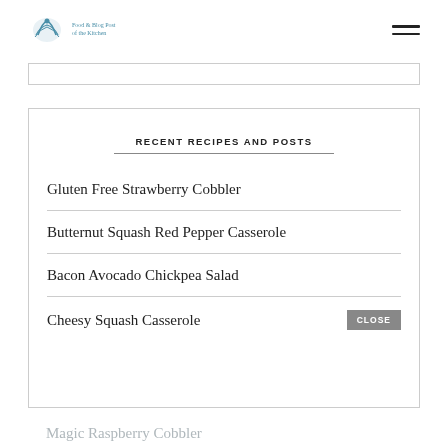Logo / site header with navigation hamburger menu
RECENT RECIPES AND POSTS
Gluten Free Strawberry Cobbler
Butternut Squash Red Pepper Casserole
Bacon Avocado Chickpea Salad
Cheesy Squash Casserole
Magic Raspberry Cobbler